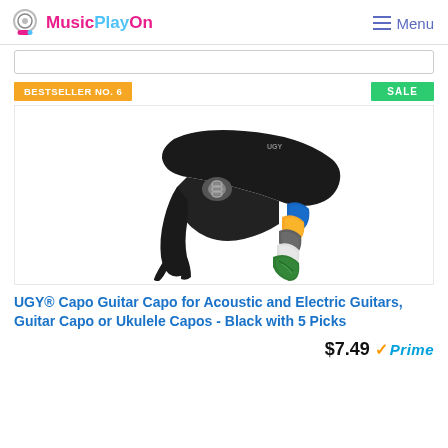MusicPlayOn — Menu
BESTSELLER NO. 6
SALE
[Figure (photo): Black guitar capo product with 5 colorful guitar picks (blue, yellow, grey, white, green) displayed beside it on a white background.]
UGY® Capo Guitar Capo for Acoustic and Electric Guitars, Guitar Capo or Ukulele Capos - Black with 5 Picks
$7.49 ✓Prime